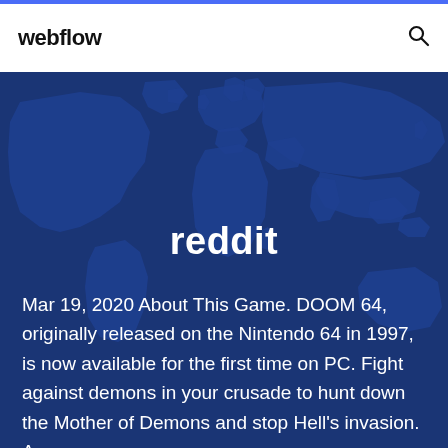webflow
reddit
Mar 19, 2020 About This Game. DOOM 64, originally released on the Nintendo 64 in 1997, is now available for the first time on PC. Fight against demons in your crusade to hunt down the Mother of Demons and stop Hell's invasion. As